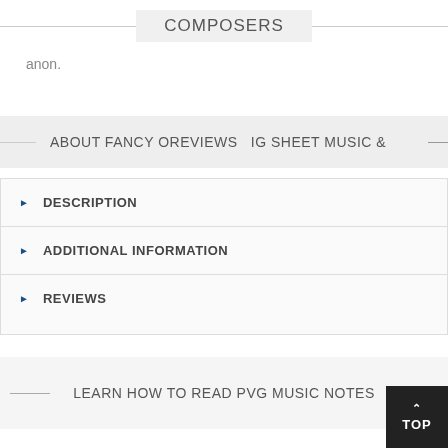COMPOSERS
anon.
ABOUT FANCY OREVIEWS  IG SHEET MUSIC &
DESCRIPTION
ADDITIONAL INFORMATION
REVIEWS
LEARN HOW TO READ PVG MUSIC NOTES